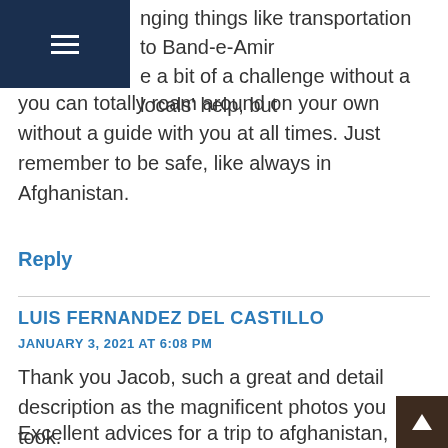nging things like transportation to Band-e-Amir e a bit of a challenge without a locals' help, but you can totally roam around on your own without a guide with you at all times. Just remember to be safe, like always in Afghanistan.
Reply
LUIS FERNANDEZ DEL CASTILLO
JANUARY 3, 2021 AT 6:08 PM
Thank you Jacob, such a great and detail description as the magnificent photos you took.
Excellent advices for a trip to afghanistan, espec